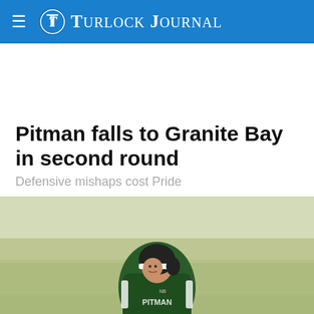Turlock Journal
Pitman falls to Granite Bay in second round
Defensive mishaps cost Pride
[Figure (photo): A baseball player in a dark green Pitman uniform and black batting helmet running on a field, photographed in outdoor daylight conditions.]